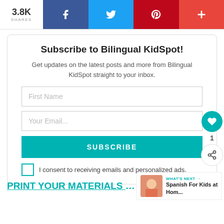[Figure (other): Social sharing bar with 3.8K shares count, Facebook, Twitter, Pinterest, and plus buttons]
Subscribe to Bilingual KidSpot!
Get updates on the latest posts and more from Bilingual KidSpot straight to your inbox.
First Name
Your Email...
SUBSCRIBE
I consent to receiving emails and personalized ads.
PRINT YOUR MATERIALS HERE
WHAT'S NEXT → Spanish For Kids at Hom...